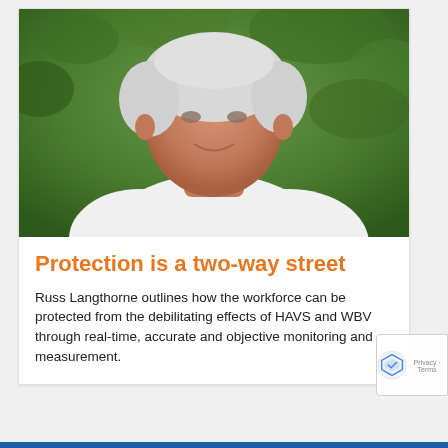[Figure (photo): Headshot of an older man with white/grey hair, wearing a white shirt, smiling, with green foliage in the background.]
Protection is a two-way street
Russ Langthorne outlines how the workforce can be protected from the debilitating effects of HAVS and WBV through real-time, accurate and objective monitoring and measurement.